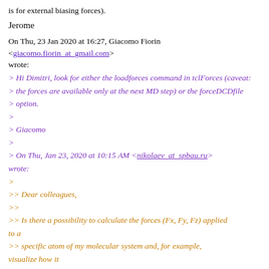is for external biasing forces).
Jerome
On Thu, 23 Jan 2020 at 16:27, Giacomo Fiorin <giacomo.fiorin_at_gmail.com> wrote:
> Hi Dimitri, look for either the loadforces command in tclForces (caveat:
> the forces are available only at the next MD step) or the forceDCDfile
> option.
>
> Giacomo
>
> On Thu, Jan 23, 2020 at 10:15 AM <nikolaev_at_spbau.ru> wrote:
>
>> Dear colleagues,
>>
>> Is there a possibility to calculate the forces (Fx, Fy, Fz) applied to a
>> specific atom of my molecular system and, for example, visualize how it
>> changes in the trajectory? I do not apply external forces, only
is for external biasing forces).